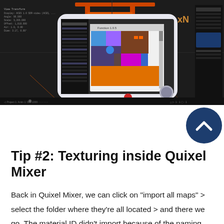[Figure (screenshot): 3D software viewport (likely Blender or similar) showing a UV map with colorful regions: purple, orange, magenta, brown, blue patches. A tablet/device interface overlay with a UV layout tool is visible. Dark background with orange/red 3D model elements visible.]
Tip #2: Texturing inside Quixel Mixer
Back in Quixel Mixer, we can click on "import all maps" > select the folder where they're all located > and there we go. The material ID didn't import because of the naming convention...